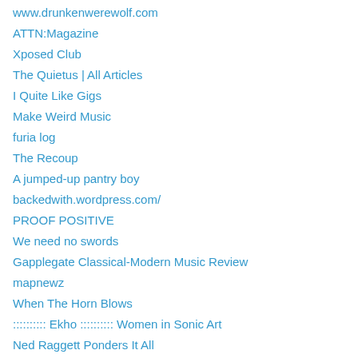www.drunkenwerewolf.com
ATTN:Magazine
Xposed Club
The Quietus | All Articles
I Quite Like Gigs
Make Weird Music
furia log
The Recoup
A jumped-up pantry boy
backedwith.wordpress.com/
PROOF POSITIVE
We need no swords
Gapplegate Classical-Modern Music Review
mapnewz
When The Horn Blows
:::::::::: Ekho :::::::::: Women in Sonic Art
Ned Raggett Ponders It All
FLIPSIDE REVIEWS
Headphone Commute
The One-Liner Miner